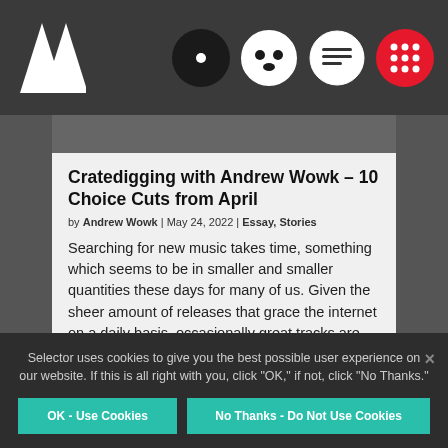Selector magazine navigation bar with logo and icons
[Figure (screenshot): Partial article thumbnail image visible at top of article card]
Cratedigging with Andrew Wowk – 10 Choice Cuts from April
by Andrew Wowk | May 24, 2022 | Essay, Stories
Searching for new music takes time, something which seems to be in smaller and smaller quantities these days for many of us. Given the sheer amount of releases that grace the internet on a daily basis, occasionally great tracks are bound to pass you by. Crate Digging…
Selector uses cookies to give you the best possible user experience on our website. If this is all right with you, click "OK," if not, click "No Thanks."